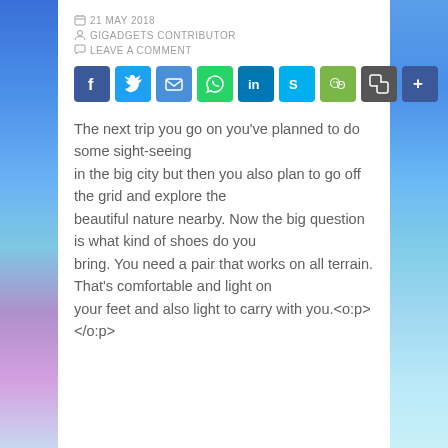21 MAY 2018
GIGADGETS CONTRIBUTOR
LEAVE A COMMENT
[Figure (infographic): Social sharing buttons row: Facebook, Twitter, Email, WhatsApp, LinkedIn, Skype, WeChat, Copy link, More]
The next trip you go on you've planned to do some sight-seeing in the big city but then you also plan to go off the grid and explore the beautiful nature nearby. Now the big question is what kind of shoes do you bring. You need a pair that works on all terrain. That's comfortable and light on your feet and also light to carry with you.<o:p></o:p>